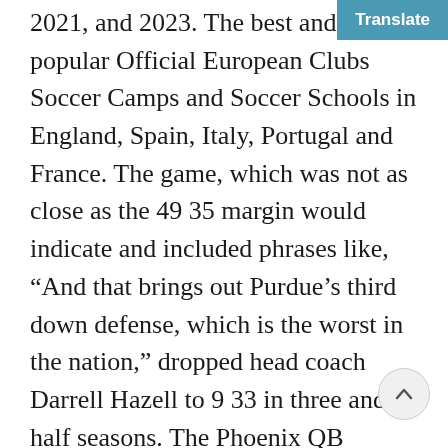2021, and 2023. The best and most popular Official European Clubs Soccer Camps and Soccer Schools in England, Spain, Italy, Portugal and France. The game, which was not as close as the 49 35 margin would indicate and included phrases like, “And that brings out Purdue’s third down defense, which is the worst in the nation,” dropped head coach Darrell Hazell to 9 33 in three and a half seasons. The Phoenix QB Academy is designed for athletes in the 2nd – 12th grade who reside in the Phoenix Area. Online until further notice. He was a member of the